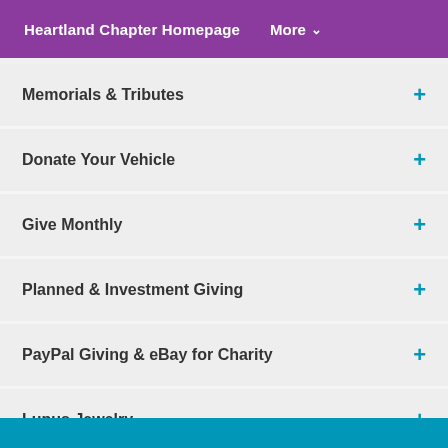Heartland Chapter Homepage  More ▾
Memorials & Tributes
Donate Your Vehicle
Give Monthly
Planned & Investment Giving
PayPal Giving & eBay for Charity
Lupus Jewelry